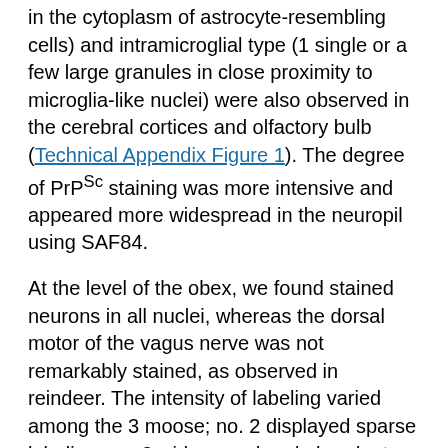in the cytoplasm of astrocyte-resembling cells) and intramicroglial type (1 single or a few large granules in close proximity to microglia-like nuclei) were also observed in the cerebral cortices and olfactory bulb (Technical Appendix Figure 1). The degree of PrPSc staining was more intensive and appeared more widespread in the neuropil using SAF84.
At the level of the obex, we found stained neurons in all nuclei, whereas the dorsal motor of the vagus nerve was not remarkably stained, as observed in reindeer. The intensity of labeling varied among the 3 moose; no. 2 displayed sparse labeling, no. 3 widespread and abundant labeling, and no. 1 intermediate labeling intensity. We observed PrPSc in all parts of the brain investigated except the cerebella of moose nos. 1 and 2. A diffuse or discrete punctate staining was observed in the granular layer of the cerebellum of moose no. 3, with stronger staining in